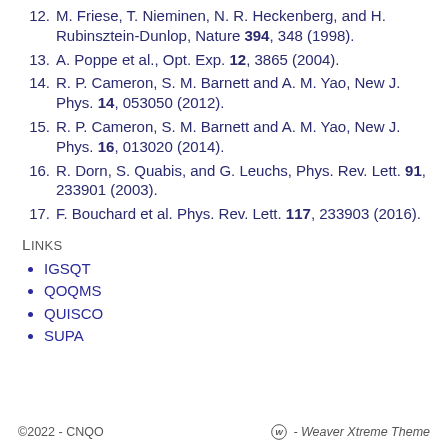12. M. Friese, T. Nieminen, N. R. Heckenberg, and H. Rubinsztein-Dunlop, Nature 394, 348 (1998).
13. A. Poppe et al., Opt. Exp. 12, 3865 (2004).
14. R. P. Cameron, S. M. Barnett and A. M. Yao, New J. Phys. 14, 053050 (2012).
15. R. P. Cameron, S. M. Barnett and A. M. Yao, New J. Phys. 16, 013020 (2014).
16. R. Dorn, S. Quabis, and G. Leuchs, Phys. Rev. Lett. 91, 233901 (2003).
17. F. Bouchard et al. Phys. Rev. Lett. 117, 233903 (2016).
Links
IGSQT
QOQMS
QUISCO
SUPA
©2022 - CNQO   W - Weaver Xtreme Theme